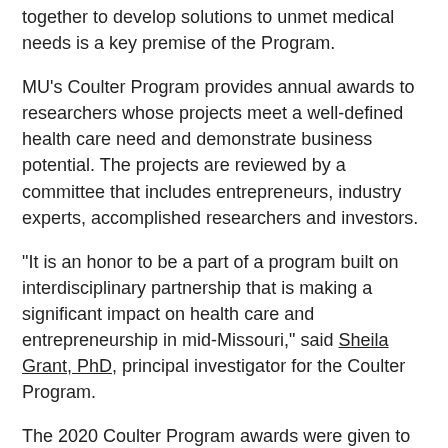together to develop solutions to unmet medical needs is a key premise of the Program.
MU's Coulter Program provides annual awards to researchers whose projects meet a well-defined health care need and demonstrate business potential. The projects are reviewed by a committee that includes entrepreneurs, industry experts, accomplished researchers and investors.
“It is an honor to be a part of a program built on interdisciplinary partnership that is making a significant impact on health care and entrepreneurship in mid-Missouri,” said Sheila Grant, PhD, principal investigator for the Coulter Program.
The 2020 Coulter Program awards were given to three teams with a total of six researchers to fund the following projects:
TumorTrap: Efficient, Low-cost and Rapid Microfluidic